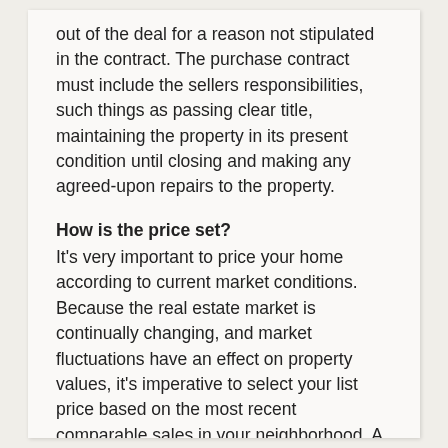out of the deal for a reason not stipulated in the contract. The purchase contract must include the sellers responsibilities, such things as passing clear title, maintaining the property in its present condition until closing and making any agreed-upon repairs to the property.
How is the price set?
It's very important to price your home according to current market conditions. Because the real estate market is continually changing, and market fluctuations have an effect on property values, it's imperative to select your list price based on the most recent comparable sales in your neighborhood. A so-called comparative market analysis provides the background data upon which to base your list-price decision. When you prepare to sell and are interviewing agents, study each agent's comparable sales report (the data should